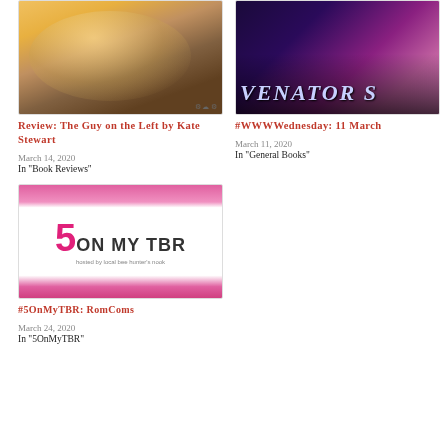[Figure (photo): Photo of men on a beach/outdoor setting with warm tones]
Review: The Guy on the Left by Kate Stewart
March 14, 2020
In "Book Reviews"
[Figure (photo): Book cover for Venators with dark purple and pink magical tones, showing the word VENATORS]
#WWWWednesday: 11 March
March 11, 2020
In "General Books"
[Figure (photo): 5 On My TBR banner image with pink background and large 5 in pink with text ON MY TBR, hosted by local bee hunter's nook]
#5OnMyTBR: RomComs
March 24, 2020
In "5OnMyTBR"
CATEGORIES: BOOK REVIEWS, GENERAL BOOKS, ROMANCE